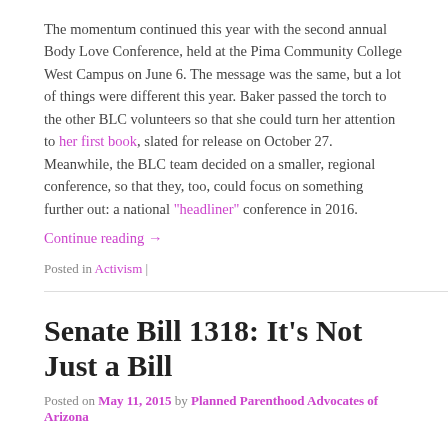The momentum continued this year with the second annual Body Love Conference, held at the Pima Community College West Campus on June 6. The message was the same, but a lot of things were different this year. Baker passed the torch to the other BLC volunteers so that she could turn her attention to her first book, slated for release on October 27. Meanwhile, the BLC team decided on a smaller, regional conference, so that they, too, could focus on something further out: a national "headliner" conference in 2016.
Continue reading →
Posted in Activism |
Senate Bill 1318: It's Not Just a Bill
Posted on May 11, 2015 by Planned Parenthood Advocates of Arizona